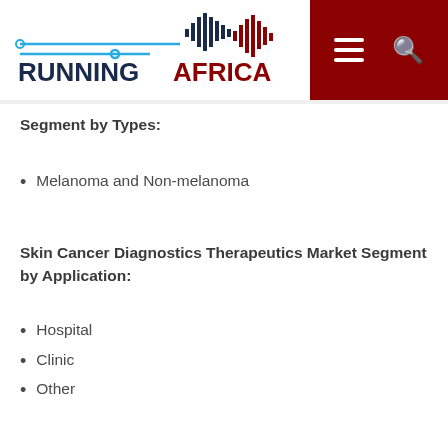[Figure (logo): RunningAfrica logo with Africa continent shape and waveform design, text RUNNINGAFRICA in bold with RUNNING in dark blue and AFRICA in red]
Segment by Types:
Melanoma and Non-melanoma
Skin Cancer Diagnostics Therapeutics Market Segment by Application:
Hospital
Clinic
Other